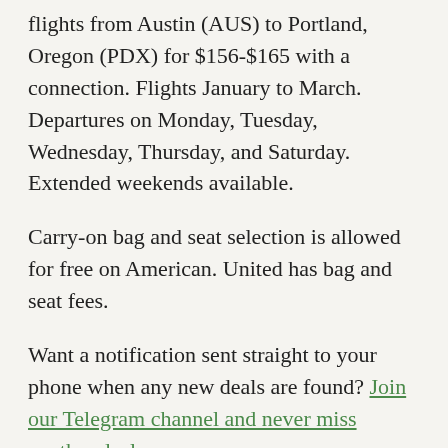flights from Austin (AUS) to Portland, Oregon (PDX) for $156-$165 with a connection. Flights January to March. Departures on Monday, Tuesday, Wednesday, Thursday, and Saturday. Extended weekends available.
Carry-on bag and seat selection is allowed for free on American. United has bag and seat fees.
Want a notification sent straight to your phone when any new deals are found? Join our Telegram channel and never miss another deal.
Patreon supporters receive a recap of all the airfare deals currently available from Austin and San Antonio everyday.
We don't charge a subscription fee. All our deal notifications are available for FREE via Instagram.